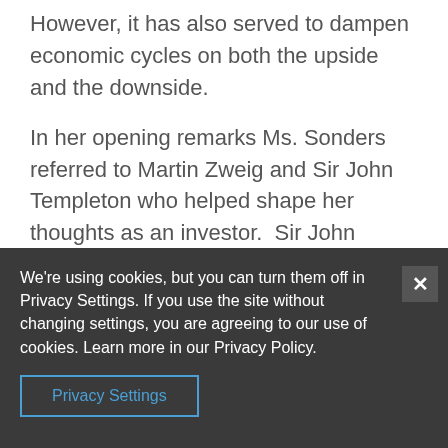However, it has also served to dampen economic cycles on both the upside and the downside.
In her opening remarks Ms. Sonders referred to Martin Zweig and Sir John Templeton who helped shape her thoughts as an investor.  Sir John Templeton stated that bull markets mature on optimism and die on
We're using cookies, but you can turn them off in Privacy Settings. If you use the site without changing settings, you are agreeing to our use of cookies. Learn more in our Privacy Policy.
Privacy Settings